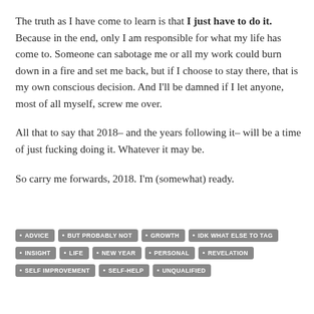The truth as I have come to learn is that I just have to do it. Because in the end, only I am responsible for what my life has come to. Someone can sabotage me or all my work could burn down in a fire and set me back, but if I choose to stay there, that is my own conscious decision. And I'll be damned if I let anyone, most of all myself, screw me over.
All that to say that 2018– and the years following it– will be a time of just fucking doing it. Whatever it may be.
So carry me forwards, 2018. I'm (somewhat) ready.
ADVICE
BUT PROBABLY NOT
GROWTH
IDK WHAT ELSE TO TAG
INSIGHT
LIFE
NEW YEAR
PERSONAL
REVELATION
SELF IMPROVEMENT
SELF-HELP
UNQUALIFIED